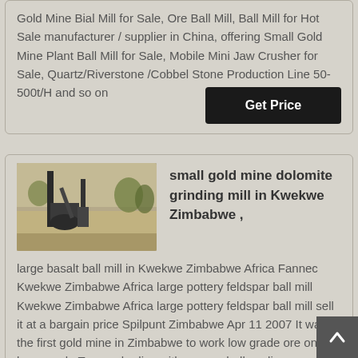Gold Mine Bial Mill for Sale, Ore Ball Mill, Ball Mill for Hot Sale manufacturer / supplier in China, offering Small Gold Mine Plant Ball Mill for Sale, Mobile Mini Jaw Crusher for Sale, Quartz/Riverstone /Cobbel Stone Production Line 50-500t/H and so on
Get Price
[Figure (photo): Photo of a small gold mine dolomite grinding mill industrial equipment outdoors]
small gold mine dolomite grinding mill in Kwekwe Zimbabwe ,
large basalt ball mill in Kwekwe Zimbabwe Africa Fannec Kwekwe Zimbabwe Africa large pottery feldspar ball mill Kwekwe Zimbabwe Africa large pottery feldspar ball mill sell it at a bargain price Spilpunt Zimbabwe Apr 11 2007 It was the first gold mine in Zimbabwe to work low grade ore on a large scale Ten ore bodies with a very shallow dip oc